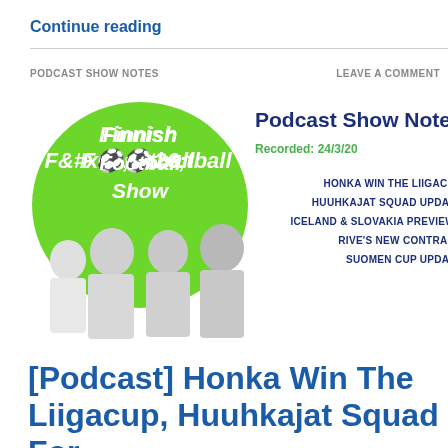Continue reading
PODCAST SHOW NOTES
LEAVE A COMMENT
[Figure (illustration): Finnish Football Show podcast logo and photo: green circle with bold italic text 'Finnish Football Show' and four men in black and white football jerseys below, alongside show notes listing including Honka Win The Liigacup, Huuhkajat Squad Update, Iceland & Slovakia Preview, Rive's New Contract, Suomen Cup Update]
[Podcast] Honka Win The Liigacup, Huuhkajat Squad For